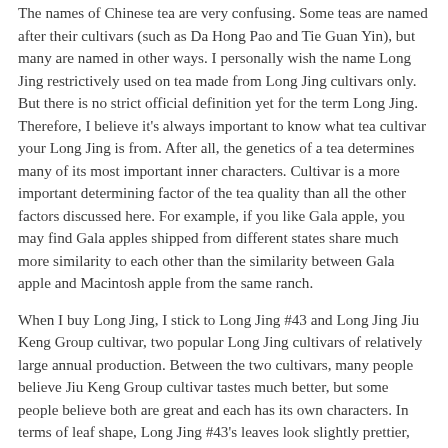The names of Chinese tea are very confusing. Some teas are named after their cultivars (such as Da Hong Pao and Tie Guan Yin), but many are named in other ways. I personally wish the name Long Jing restrictively used on tea made from Long Jing cultivars only. But there is no strict official definition yet for the term Long Jing. Therefore, I believe it's always important to know what tea cultivar your Long Jing is from. After all, the genetics of a tea determines many of its most important inner characters. Cultivar is a more important determining factor of the tea quality than all the other factors discussed here. For example, if you like Gala apple, you may find Gala apples shipped from different states share much more similarity to each other than the similarity between Gala apple and Macintosh apple from the same ranch.
When I buy Long Jing, I stick to Long Jing #43 and Long Jing Jiu Keng Group cultivar, two popular Long Jing cultivars of relatively large annual production. Between the two cultivars, many people believe Jiu Keng Group cultivar tastes much better, but some people believe both are great and each has its own characters. In terms of leaf shape, Long Jing #43's leaves look slightly prettier, and this partially contributes to its popularity. Besides, Long Jing #43 grow buds and leaves about one to two weeks earlier than Jiu Keng